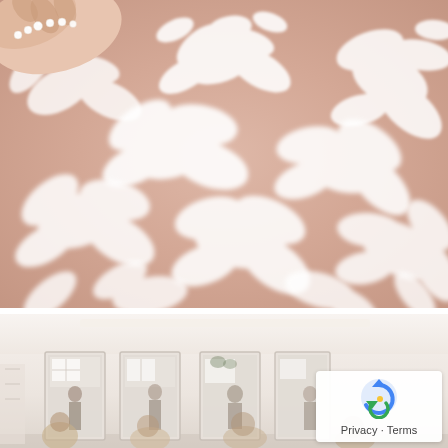[Figure (photo): Close-up photograph of a white floral lace wedding dress fabric over a blush/peach background, with a pearl-embellished nude high-heel shoe visible in the upper left corner. The lace has intricate leaf and flower patterns.]
[Figure (photo): Interior photograph of a bright bridal boutique or dressing room with large mirrors. Several people (women) are visible in the background, likely bridesmaids or attendants. The room has white walls, warm lighting, and racks of clothing.]
Privacy · Terms